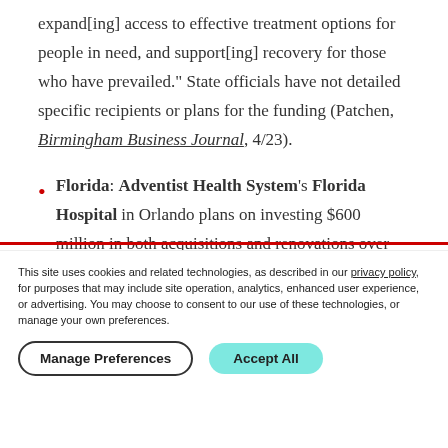expand[ing] access to effective treatment options for people in need, and support[ing] recovery for those who have prevailed." State officials have not detailed specific recipients or plans for the funding (Patchen, Birmingham Business Journal, 4/23).
Florida: Adventist Health System's Florida Hospital in Orlando plans on investing $600 million in both acquisitions and renovations over the next three years. The largest project under this investment is a new patient tower
This site uses cookies and related technologies, as described in our privacy policy, for purposes that may include site operation, analytics, enhanced user experience, or advertising. You may choose to consent to our use of these technologies, or manage your own preferences.